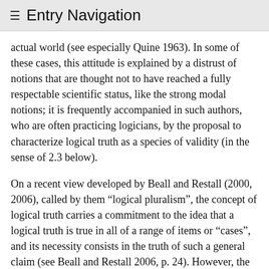≡ Entry Navigation
actual world (see especially Quine 1963). In some of these cases, this attitude is explained by a distrust of notions that are thought not to have reached a fully respectable scientific status, like the strong modal notions; it is frequently accompanied in such authors, who are often practicing logicians, by the proposal to characterize logical truth as a species of validity (in the sense of 2.3 below).
On a recent view developed by Beall and Restall (2000, 2006), called by them “logical pluralism”, the concept of logical truth carries a commitment to the idea that a logical truth is true in all of a range of items or “cases”, and its necessity consists in the truth of such a general claim (see Beall and Restall 2006, p. 24). However, the concept of logical truth does not single out a unique range of “cases” as privileged in determining an extension for the concept; instead, there are many such equally acceptable ranges and corresponding extensions, which may be chosen as a function of contextual interests. This